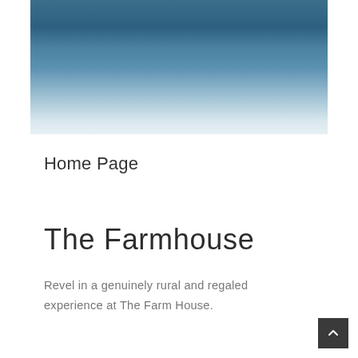[Figure (photo): A gradient background image transitioning from dark blue-gray at the top to a light grayish-white at the bottom, resembling a sky or abstract landscape photo.]
Home Page
The Farmhouse
Revel in a genuinely rural and regaled experience at The Farm House.